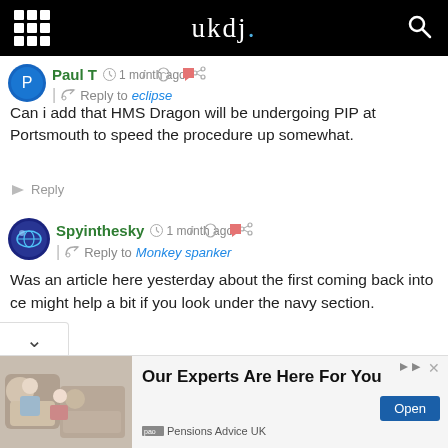ukdj.
Paul T  ·  1 month ago
Reply to eclipse
Can i add that HMS Dragon will be undergoing PIP at Portsmouth to speed the procedure up somewhat.
Reply
Spyinthesky  ·  1 month ago
Reply to Monkey spanker
Was an article here yesterday about the first coming back into ce might help a bit if you look under the navy section.
[Figure (infographic): Advertisement banner: Our Experts Are Here For You - Pensions Advice UK with Open button]